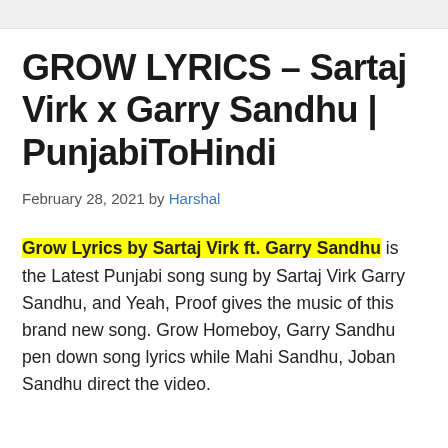GROW LYRICS – Sartaj Virk x Garry Sandhu | PunjabiToHindi
February 28, 2021 by Harshal
Grow Lyrics by Sartaj Virk ft. Garry Sandhu is the Latest Punjabi song sung by Sartaj Virk Garry Sandhu, and Yeah, Proof gives the music of this brand new song. Grow Homeboy, Garry Sandhu pen down song lyrics while Mahi Sandhu, Joban Sandhu direct the video.